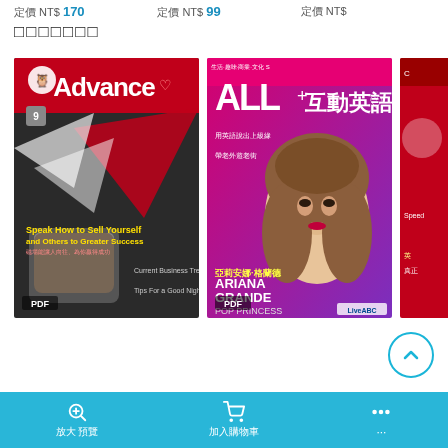定價 NT$ 170
定價 NT$ 99
定價 NT$
□□□□□□□
[Figure (photo): Magazine cover: Advance with paper airplanes and fist, PDF badge]
[Figure (photo): Magazine cover: ALL+ 互動英語 featuring Ariana Grande, PDF badge]
[Figure (photo): Partially visible third magazine cover on the right]
放大 預覽  加入購物車  ...